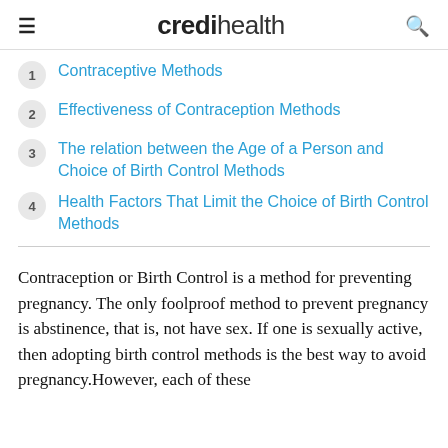credihealth
1 Contraceptive Methods
2 Effectiveness of Contraception Methods
3 The relation between the Age of a Person and Choice of Birth Control Methods
4 Health Factors That Limit the Choice of Birth Control Methods
Contraception or Birth Control is a method for preventing pregnancy. The only foolproof method to prevent pregnancy is abstinence, that is, not have sex. If one is sexually active, then adopting birth control methods is the best way to avoid pregnancy.However, each of these